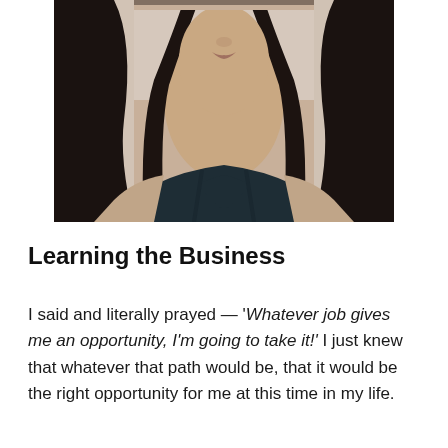[Figure (photo): Close-up photo of a woman with long dark hair and dark top, cropped to show neck and upper chest, slightly blurred face at top]
Learning the Business
I said and literally prayed — 'Whatever job gives me an opportunity, I'm going to take it!' I just knew that whatever that path would be, that it would be the right opportunity for me at this time in my life.